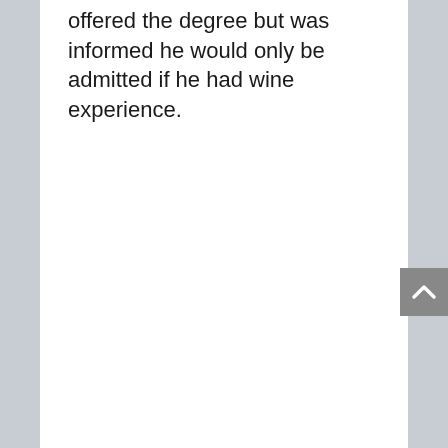offered the degree but was informed he would only be admitted if he had wine experience.